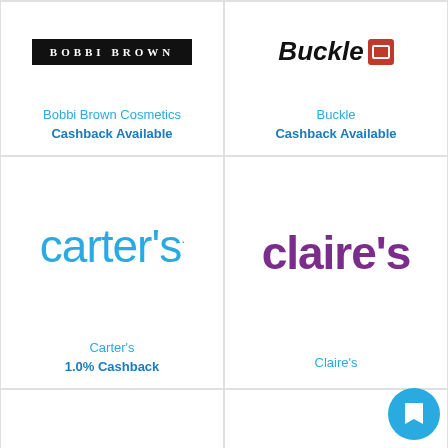[Figure (logo): Bobbi Brown Cosmetics logo — white text on black background]
Bobbi Brown Cosmetics
Cashback Available
[Figure (logo): Buckle logo — bold italic text with red buckle icon]
Buckle
Cashback Available
[Figure (logo): Carter's logo in light blue text]
Carter's
1.0% Cashback
[Figure (logo): Claire's logo in purple bold text]
Claire's
[Figure (logo): Clinique logo — serif bold text with horizontal lines above and below]
[Figure (logo): Coach Outlet logo — serif bold text with OUTLET subtitle]